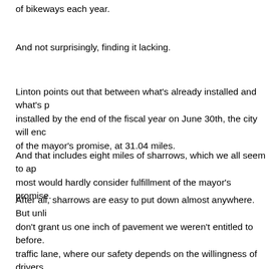of bikeways each year.
And not surprisingly, finding it lacking.
Linton points out that between what's already installed and what's planned to be installed by the end of the fiscal year on June 30th, the city will end up short of the mayor's promise, at 31.04 miles.
And that includes eight miles of sharrows, which we all seem to agree, most would hardly consider fulfillment of the mayor's promise.
After all, sharrows are easy to put down almost anywhere. But unlike bike lanes, they don't grant us one inch of pavement we weren't entitled to before. Our bikes stay in the traffic lane, where our safety depends on the willingness of drivers to share the road. Let alone pay attention.
Which isn't something you really want to count on.
Still, Joe holds out hope that L.A. will live up to its promise. And offers a list of low-hanging fruit that could be installed quickly and easily.
Are you listening Mayor?